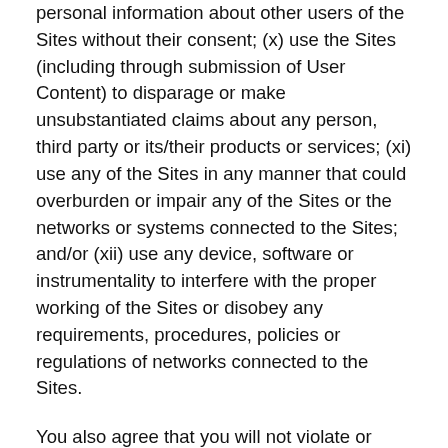personal information about other users of the Sites without their consent; (x) use the Sites (including through submission of User Content) to disparage or make unsubstantiated claims about any person, third party or its/their products or services; (xi) use any of the Sites in any manner that could overburden or impair any of the Sites or the networks or systems connected to the Sites; and/or (xii) use any device, software or instrumentality to interfere with the proper working of the Sites or disobey any requirements, procedures, policies or regulations of networks connected to the Sites.
You also agree that you will not violate or attempt to violate the security of the Sites. Violations of system or network security may result in civil or criminal liability. Rugs.com LLC reserves the right to investigate occurrences which may involve such violations and may